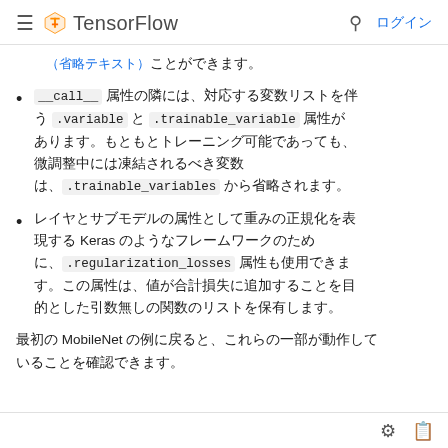TensorFlow ログイン
ことができます。
__call__ 属性の隣には、対応する変数リストを伴う .variable と .trainable_variable 属性があります。もともとトレーニング可能であっても、微調整中には凍結されるべき変数は、.trainable_variables から省略されます。
レイヤとサブモデルの属性として重みの正規化を表現する Keras のようなフレームワークのために、.regularization_losses 属性も使用できます。この属性は、値が合計損失に追加することを目的とした引数無しの関数のリストを保有します。
最初の MobileNet の例に戻ると、これらの一部が動作していることを確認できます。